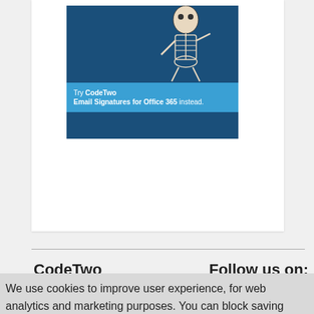[Figure (illustration): CodeTwo advertisement banner with a skeleton figure illustration on dark blue background, with blue banner reading 'Try CodeTwo Email Signatures for Office 365 instead.']
CodeTwo
Follow us on:
We use cookies to improve user experience, for web analytics and marketing purposes. You can block saving cookies to your hard drive at any time, by changing the settings of your web browser. By continuing to use this website without disabling cookies in your web browser you agree to saving cookies to your hard drive. Learn more in our Privacy Policy.
OK
Copyright 2022 CodeTwo